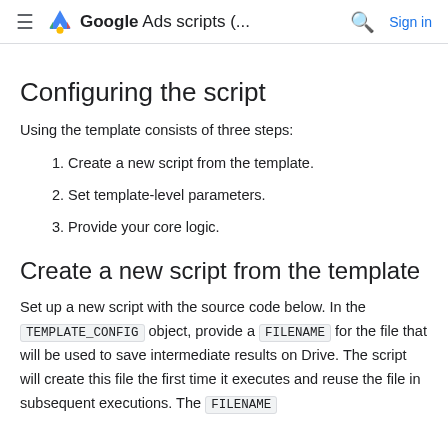Google Ads scripts (... Sign in
Configuring the script
Using the template consists of three steps:
1. Create a new script from the template.
2. Set template-level parameters.
3. Provide your core logic.
Create a new script from the template
Set up a new script with the source code below. In the TEMPLATE_CONFIG object, provide a FILENAME for the file that will be used to save intermediate results on Drive. The script will create this file the first time it executes and reuse the file in subsequent executions. The FILENAME